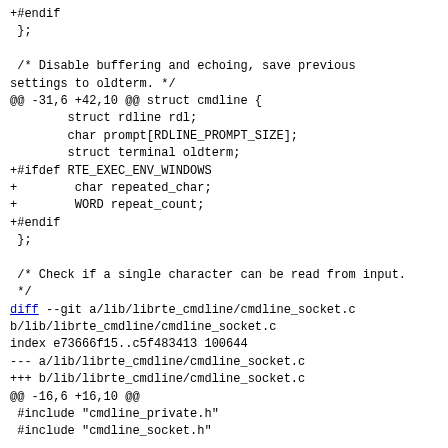+#endif
 };

 /* Disable buffering and echoing, save previous settings to oldterm. */
@@ -31,6 +42,10 @@ struct cmdline {
        struct rdline rdl;
        char prompt[RDLINE_PROMPT_SIZE];
        struct terminal oldterm;
+#ifdef RTE_EXEC_ENV_WINDOWS
+        char repeated_char;
+        WORD repeat_count;
+#endif
 };

 /* Check if a single character can be read from input.
 */
diff --git a/lib/librte_cmdline/cmdline_socket.c b/lib/librte_cmdline/cmdline_socket.c
index e73666f15..c5f483413 100644
--- a/lib/librte_cmdline/cmdline_socket.c
+++ b/lib/librte_cmdline/cmdline_socket.c
@@ -16,6 +16,10 @@
 #include "cmdline_private.h"
 #include "cmdline_socket.h"

+#ifdef RTE_EXEC_ENV_WINDOWS
+#define open _open
+#endif
+